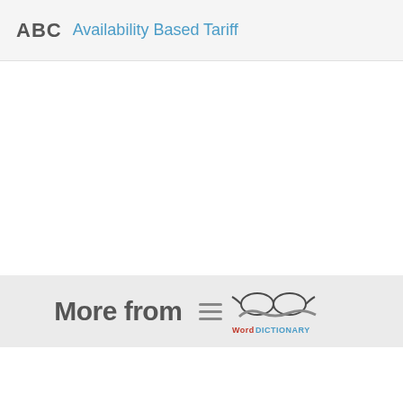ABC  Availability Based Tariff
[Figure (logo): Footer area showing 'More from' text with hamburger menu icon and WordDictionary logo with glasses illustration]
More from [WordDictionary logo]